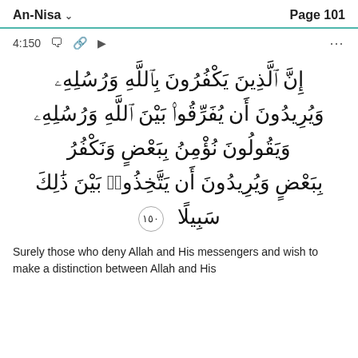An-Nisa    Page 101
4:150
إِنَّ ٱلَّذِينَ يَكْفُرُونَ بِٱللَّهِ وَرُسُلِهِۦ وَيُرِيدُونَ أَن يُفَرِّقُوا۟ بَيْنَ ٱللَّهِ وَرُسُلِهِۦ وَيَقُولُونَ نُؤْمِنُ بِبَعْضٍ وَنَكْفُرُ بِبَعْضٍ وَيُرِيدُونَ أَن يَتَّخِذُوا۟ بَيْنَ ذَٰلِكَ سَبِيلًا ١٥٠
Surely those who deny Allah and His messengers and wish to make a distinction between Allah and His